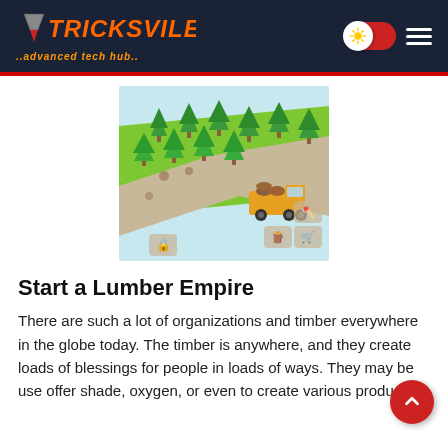TRICKSVILE ..advanced tech hub..
[Figure (screenshot): A mobile game screenshot showing an isometric lumber empire game with trees, a yellow log truck, green terrain, roads, and shop/UI icons at the bottom.]
Start a Lumber Empire
There are such a lot of organizations and timber everywhere in the globe today. The timber is anywhere, and they create loads of blessings for people in loads of ways. They may be used to offer shade, oxygen, or even to create various products.